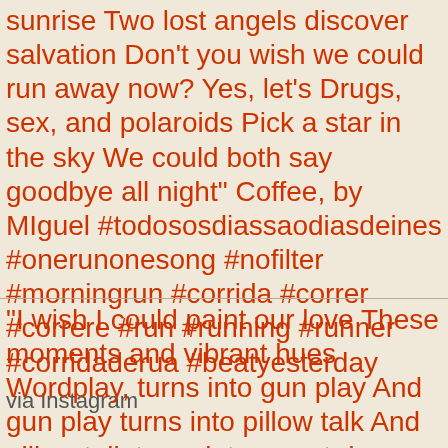sunrise Two lost angels discover salvation Don't you wish we could run away now? Yes, let's Drugs, sex, and polaroids Pick a star in the sky We could both say goodbye all night" Coffee, by MIguel #todososdiassaodiasdeines #onerunonesong #nofilter #morningrun #corrida #correr #correre #run #running #runner #corridaderua #beatyesterday
via Instagram
“I wish I could paint our love These moments and vibrant hues Wordplay, turns into gun play And gun play turns into pillow talk And pillow talk turns into sweet dreams Sweet dreams turns into coffee in the morning We talk street art and